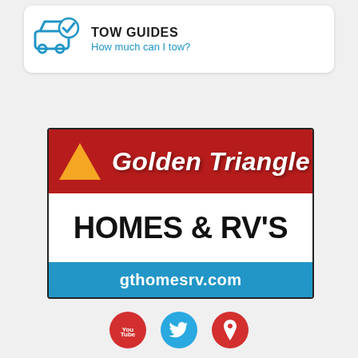[Figure (infographic): Tow Guides card with car/checkmark icon, title 'TOW GUIDES' and subtitle 'How much can I tow?']
[Figure (logo): Golden Triangle Homes & RV's logo with red top section showing golden triangle and italic text, white middle with 'HOMES & RV's', and blue bottom with gthomesrv.com]
[Figure (infographic): Three social media icon buttons: YouTube (red), Twitter (blue), Location/map pin (red)]